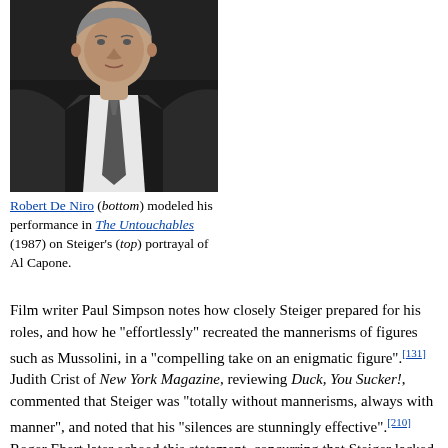[Figure (photo): Black and white portrait photo of a man in a dark suit and tie, cropped at mid-chest, facing slightly to one side.]
Robert De Niro (bottom) modeled his performance in The Untouchables (1987) on Steiger's (top) portrayal of Al Capone.
Film writer Paul Simpson notes how closely Steiger prepared for his roles, and how he "effortlessly" recreated the mannerisms of figures such as Mussolini, in a "compelling take on an enigmatic figure".[131] Judith Crist of New York Magazine, reviewing Duck, You Sucker!, commented that Steiger was "totally without mannerisms, always with manner", and noted that his "silences are stunningly effective".[210] Roger Ebert later echoed this statement, concurring that Steiger lacked mannerisms, writing, "When he gets a character worth playing with, he creates it new from the bottom